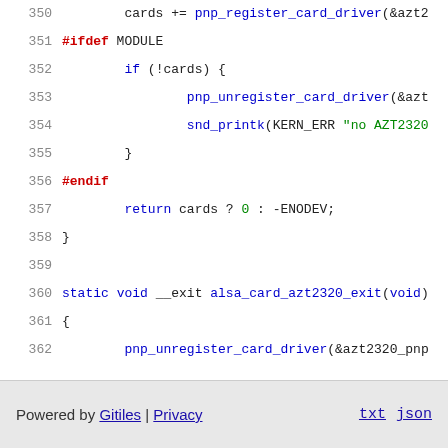Source code listing lines 350-366 of Linux kernel ALSA AZT2320 driver
Powered by Gitiles | Privacy   txt  json